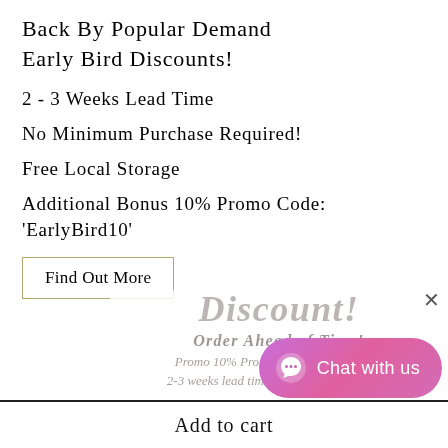Back By Popular Demand Early Bird Discounts!
2 - 3 Weeks Lead Time
No Minimum Purchase Required!
Free Local Storage
Additional Bonus 10% Promo Code: 'EarlyBird10'
Find Out More
[Figure (screenshot): Faded popup overlay showing Early Bird Discount promotional text including 'Order Ahead of Time!', 'Promo 10% Promo Code: EarlyBird10', '2-3 weeks lead time! Save 10% Additional!', 'Free Local Delivery, No Min Purchase', '6 Months LEDs Warranty', '1 Year Lamp Body Warranty', 'Hoodah - Three Months 0%' with a close X button]
Add to cart